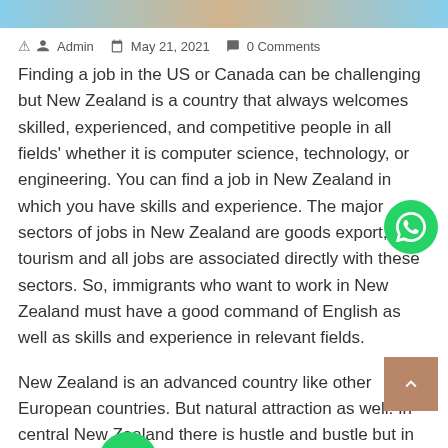[Figure (illustration): Top decorative image bar with light blue and tan/beige tones]
Admin   May 21, 2021   0 Comments
Finding a job in the US or Canada can be challenging but New Zealand is a country that always welcomes skilled, experienced, and competitive people in all fields' whether it is computer science, technology, or engineering. You can find a job in New Zealand in which you have skills and experience. The major sectors of jobs in New Zealand are goods export, tourism and all jobs are associated directly with these sectors. So, immigrants who want to work in New Zealand must have a good command of English as well as skills and experience in relevant fields.
New Zealand is an advanced country like other European countries. But natural attraction as well. In central New Zealand there is hustle and bustle but in other areas, life is simple and free. In central